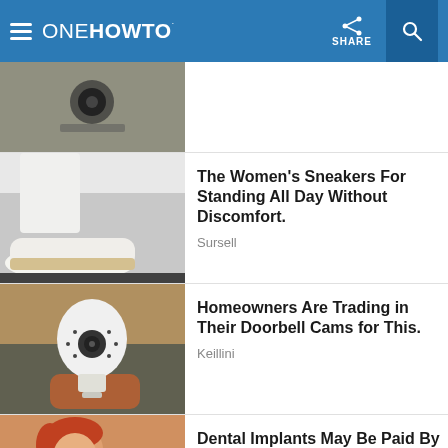oneHOWTO
[Figure (photo): Security camera mounted on a wall]
[Figure (photo): Woman wearing white sneakers]
The Women's Sneakers For Standing All Day Without Discomfort.
Sursell
[Figure (photo): Hand holding a light-bulb security camera]
Homeowners Are Trading in Their Doorbell Cams for This.
Keillini
[Figure (photo): Woman with red hair smiling]
Dental Implants May Be Paid By Medicare (See How)
Dental Implants | Search Ads